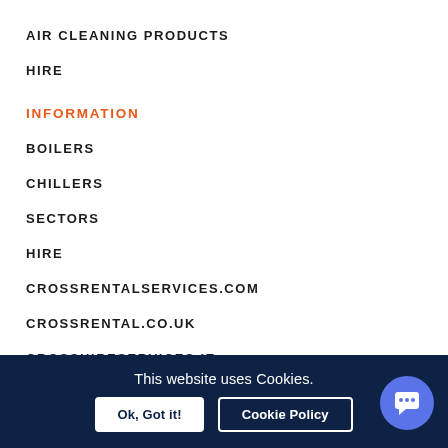AIR CLEANING PRODUCTS
HIRE
INFORMATION
BOILERS
CHILLERS
SECTORS
HIRE
CROSSRENTALSERVICES.COM
CROSSRENTAL.CO.UK
CROSSHIRESERVICES.IE
REFRIGERATION.CROSSRENTALSERVICES.COM
This website uses Cookies. Ok, Got it! Cookie Policy